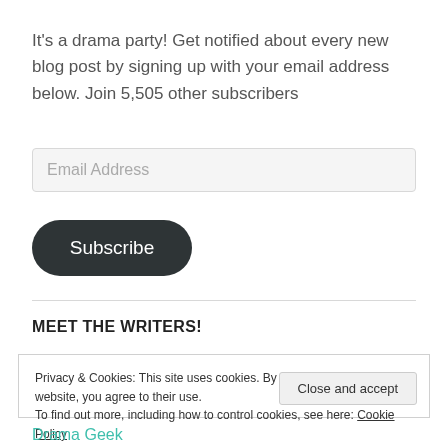It's a drama party! Get notified about every new blog post by signing up with your email address below. Join 5,505 other subscribers
[Figure (screenshot): Email address input field with placeholder text 'Email Address']
[Figure (screenshot): Dark rounded Subscribe button]
MEET THE WRITERS!
Privacy & Cookies: This site uses cookies. By continuing to use this website, you agree to their use. To find out more, including how to control cookies, see here: Cookie Policy
Close and accept
Drama Geek